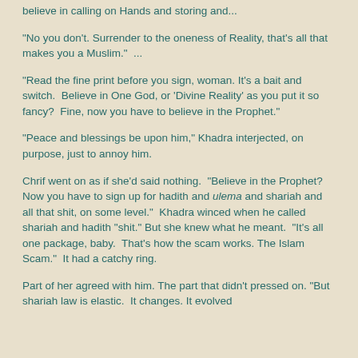believe in calling on Hands and storing and...
"No you don't. Surrender to the oneness of Reality, that's all that makes you a Muslim."  ...
"Read the fine print before you sign, woman. It's a bait and switch.  Believe in One God, or 'Divine Reality' as you put it so fancy?  Fine, now you have to believe in the Prophet."
"Peace and blessings be upon him," Khadra interjected, on purpose, just to annoy him.
Chrif went on as if she'd said nothing.  "Believe in the Prophet?  Now you have to sign up for hadith and ulema and shariah and all that shit, on some level."  Khadra winced when he called shariah and hadith "shit." But she knew what he meant.  "It's all one package, baby.  That's how the scam works. The Islam Scam."  It had a catchy ring.
Part of her agreed with him. The part that didn't pressed on. "But shariah law is elastic. It changes. It evolved...